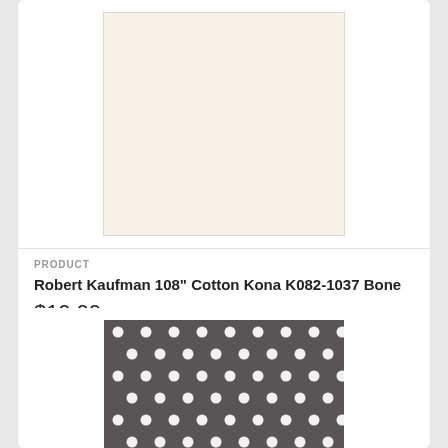[Figure (photo): Solid cream/bone colored fabric swatch]
PRODUCT
Robert Kaufman 108" Cotton Kona K082-1037 Bone
$19.99
[Figure (photo): Dark charcoal grey fabric with white polka dots pattern]